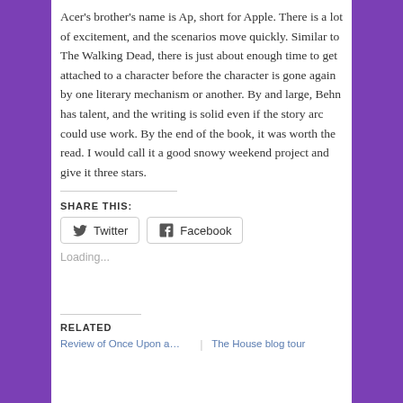Acer's brother's name is Ap, short for Apple. There is a lot of excitement, and the scenarios move quickly. Similar to The Walking Dead, there is just about enough time to get attached to a character before the character is gone again by one literary mechanism or another. By and large, Behn has talent, and the writing is solid even if the story arc could use work. By the end of the book, it was worth the read. I would call it a good snowy weekend project and give it three stars.
SHARE THIS:
Loading...
RELATED
Review of Once Upon a...   The House blog tour